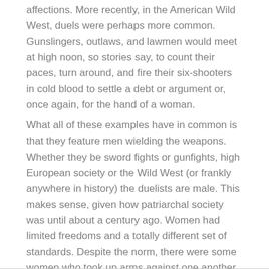affections. More recently, in the American Wild West, duels were perhaps more common. Gunslingers, outlaws, and lawmen would meet at high noon, so stories say, to count their paces, turn around, and fire their six-shooters in cold blood to settle a debt or argument or, once again, for the hand of a woman.
What all of these examples have in common is that they feature men wielding the weapons. Whether they be sword fights or gunfights, high European society or the Wild West (or frankly anywhere in history) the duelists are male. This makes sense, given how patriarchal society was until about a century ago. Women had limited freedoms and a totally different set of standards. Despite the norm, there were some women who took up arms against one another or even against other men. This is a list of ten female duels and duelists.